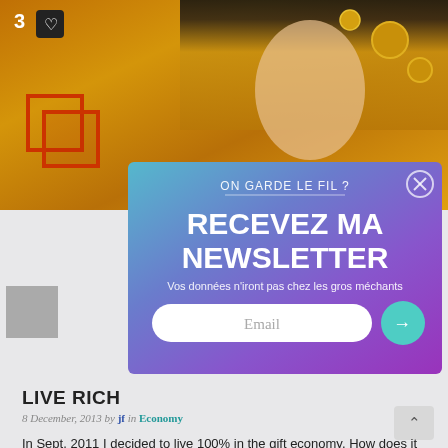[Figure (photo): Hero image: Gustav Klimt-style golden painting with a woman's face on the right side and ornate gold pattern background. A number '3' and heart icon badge overlay the top-left corner.]
[Figure (infographic): Newsletter subscription popup overlay with gradient teal-to-purple background. Text reads 'ON GARDE LE FIL ?' and 'RECEVEZ MA NEWSLETTER'. Subtitle: 'Vos données n'iront pas chez les gros méchants'. Email input field with teal submit arrow button. Close (X) button top-right.]
LIVE RICH
8 December, 2013 by jf in Economy
In Sept. 2011 I decided to live 100% in the gift economy. How does it feel like?